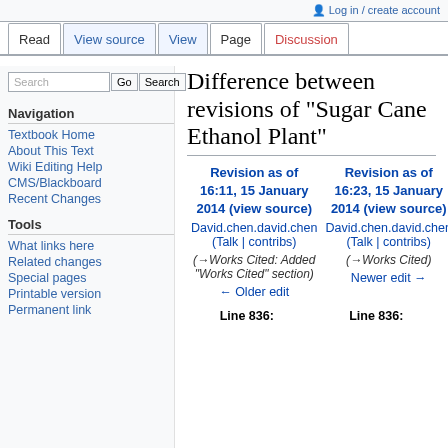Log in / create account
Read | View source | View | Page | Discussion
Difference between revisions of "Sugar Cane Ethanol Plant"
Navigation
Textbook Home
About This Text
Wiki Editing Help
CMS/Blackboard
Recent Changes
Tools
What links here
Related changes
Special pages
Printable version
Permanent link
| Revision as of 16:11, 15 January 2014 (view source) | Revision as of 16:23, 15 January 2014 (view source) |
| --- | --- |
| David.chen.david.chen (Talk | contribs) | David.chen.david.chen (Talk | contribs) |
| (→Works Cited: Added "Works Cited" section) | (→Works Cited) |
| ← Older edit | Newer edit → |
Line 836:   Line 836: